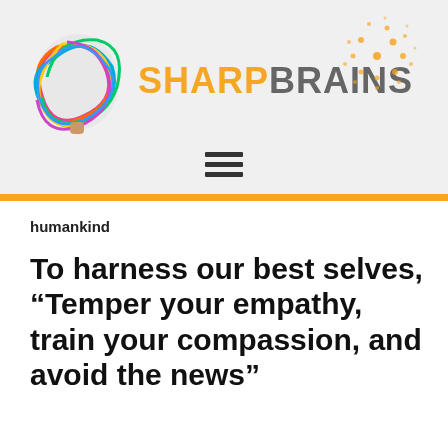[Figure (logo): SharpBrains logo with colorful brain illustration and orange/grey text]
humankind
To harness our best selves, “Temper your empathy, train your compassion, and avoid the news”